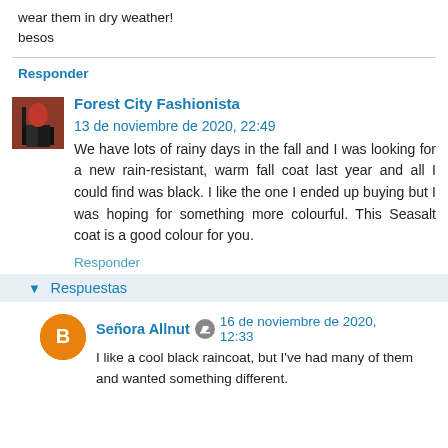wear them in dry weather!
besos
Responder
Forest City Fashionista  13 de noviembre de 2020, 22:49
We have lots of rainy days in the fall and I was looking for a new rain-resistant, warm fall coat last year and all I could find was black. I like the one I ended up buying but I was hoping for something more colourful. This Seasalt coat is a good colour for you.
Responder
Respuestas
Señora Allnut  16 de noviembre de 2020, 12:33
I like a cool black raincoat, but I've had many of them and wanted something different.